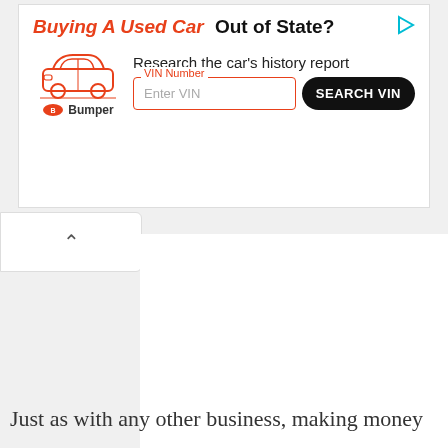[Figure (screenshot): Advertisement banner for Bumper VIN lookup service. Title reads 'Buying A Used Car Out of State?' with a car icon, text 'Research the car's history report', a VIN Number input field with placeholder 'Enter VIN', and a 'SEARCH VIN' button. Bumper logo at bottom left.]
Just as with any other business, making money